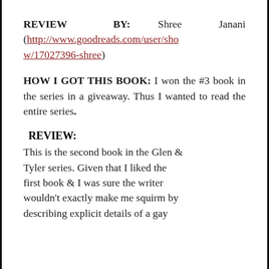REVIEW BY: Shree Janani (http://www.goodreads.com/user/show/17027396-shree)
HOW I GOT THIS BOOK: I won the #3 book in the series in a giveaway. Thus I wanted to read the entire series.
REVIEW:
This is the second book in the Glen & Tyler series. Given that I liked the first book & I was sure the writer wouldn't exactly make me squirm by describing explicit details of a gay